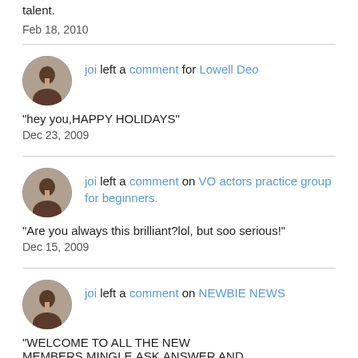talent.
Feb 18, 2010
joi left a comment for Lowell Deo
"hey you,HAPPY HOLIDAYS"
Dec 23, 2009
joi left a comment on VO actors practice group for beginners.
"Are you always this brilliant?lol, but soo serious!"
Dec 15, 2009
joi left a comment on NEWBIE NEWS
"WELCOME TO ALL THE NEW MEMBERS,MINGLE,ASK,ANSWER AND